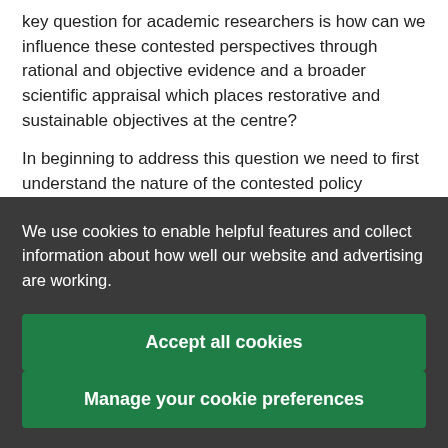key question for academic researchers is how can we influence these contested perspectives through rational and objective evidence and a broader scientific appraisal which places restorative and sustainable objectives at the centre?
In beginning to address this question we need to first understand the nature of the contested policy dynamics...
We use cookies to enable helpful features and collect information about how well our website and advertising are working.
Accept all cookies
Manage your cookie preferences